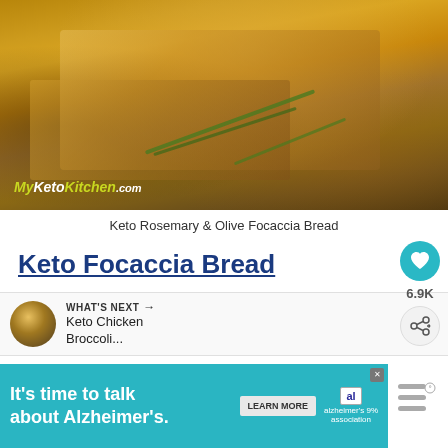[Figure (photo): Photo of keto focaccia bread slices with rosemary garnish on a wooden board, with MyKetoKitchen.com watermark]
Keto Rosemary & Olive Focaccia Bread
Keto Focaccia Bread
6.9K
WHAT'S NEXT → Keto Chicken Broccoli...
[Figure (photo): Small thumbnail of Keto Chicken Broccoli dish]
[Figure (other): Advertisement banner: It's time to talk about Alzheimer's. LEARN MORE - Alzheimer's Association]
It's time to talk about Alzheimer's.